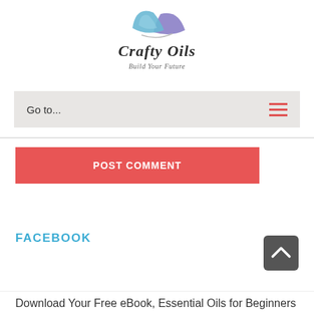[Figure (logo): Crafty Oils logo with blue and purple leaf/feather graphic above the text 'Crafty Oils' in stylized script with tagline 'Build Your Future']
Go to...
POST COMMENT
FACEBOOK
[Figure (other): Scroll-to-top button, dark gray rounded square with upward chevron arrow]
Download Your Free eBook, Essential Oils for Beginners